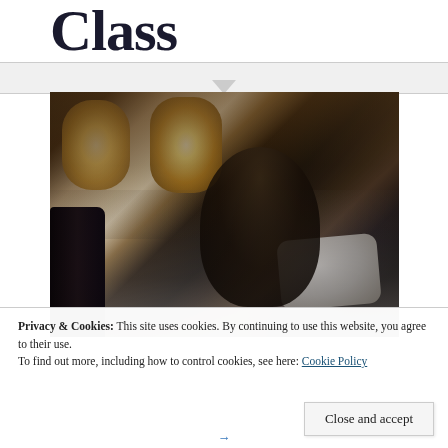Class
[Figure (photo): Woman sitting in a luxury airplane first class flat bed seat, with cabin windows glowing warmly in the background, white pillows and bedding visible]
Privacy & Cookies: This site uses cookies. By continuing to use this website, you agree to their use.
To find out more, including how to control cookies, see here: Cookie Policy
Close and accept